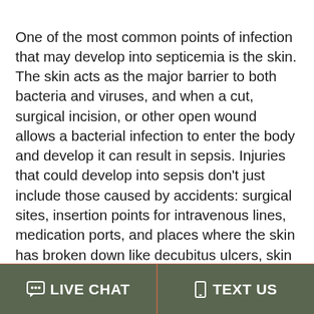One of the most common points of infection that may develop into septicemia is the skin. The skin acts as the major barrier to both bacteria and viruses, and when a cut, surgical incision, or other open wound allows a bacterial infection to enter the body and develop it can result in sepsis. Injuries that could develop into sepsis don't just include those caused by accidents: surgical sites, insertion points for intravenous lines, medication ports, and places where the skin has broken down like decubitus ulcers, skin grafts, and bed sores are prone to developing sepsis as well, particularly if not properly
LIVE CHAT | TEXT US